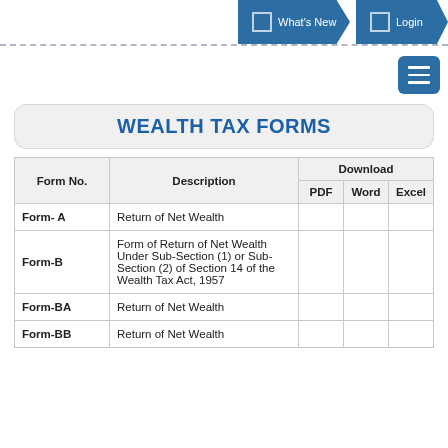What's New   Login
WEALTH TAX FORMS
| Form No. | Description | Download |  |  |
| --- | --- | --- | --- | --- |
| Form- A | Return of Net Wealth |  |  |  |
| Form-B | Form of Return of Net Wealth Under Sub-Section (1) or Sub-Section (2) of Section 14 of the Wealth Tax Act, 1957 |  |  |  |
| Form-BA | Return of Net Wealth |  |  |  |
| Form-BB | Return of Net Wealth |  |  |  |